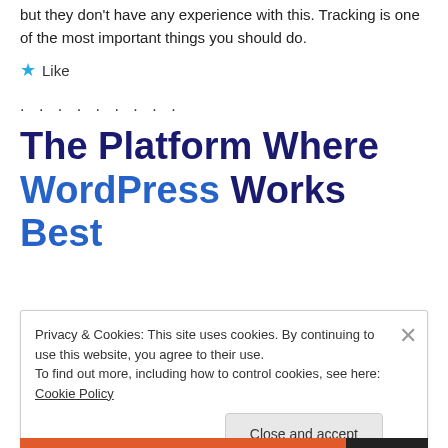but they don't have any experience with this. Tracking is one of the most important things you should do.
★ Like
. . . . . . . . .
The Platform Where WordPress Works Best
Privacy & Cookies: This site uses cookies. By continuing to use this website, you agree to their use.
To find out more, including how to control cookies, see here: Cookie Policy
Close and accept